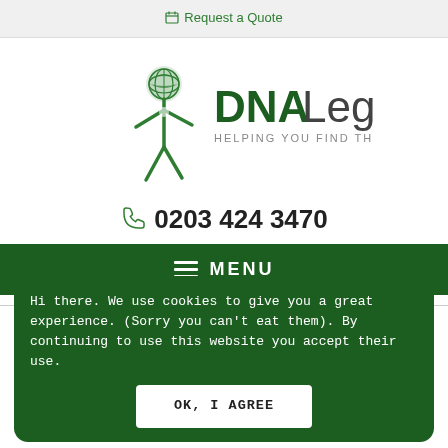Request a Quote
[Figure (logo): DNA Legal logo — green human figure with globe head, text 'DNA Legal' and tagline 'HELPING YOU FIND THE TRUTH']
0203 424 3470
MENU
Hi there. We use cookies to give you a great experience. (Sorry you can't eat them). By continuing to use this website you accept their use.
OK, I AGREE